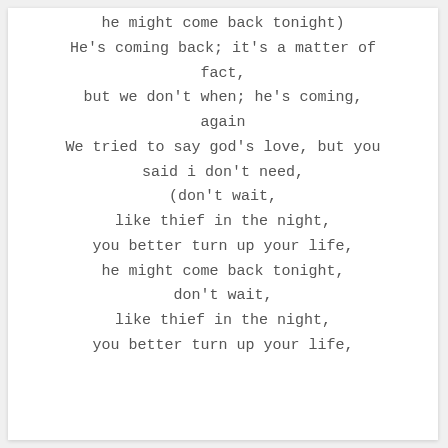he might come back tonight)
He's coming back; it's a matter of fact,
but we don't when; he's coming, again
We tried to say god's love, but you said i don't need,
(don't wait,
like thief in the night,
you better turn up your life,
he might come back tonight,
don't wait,
like thief in the night,
you better turn up your life,